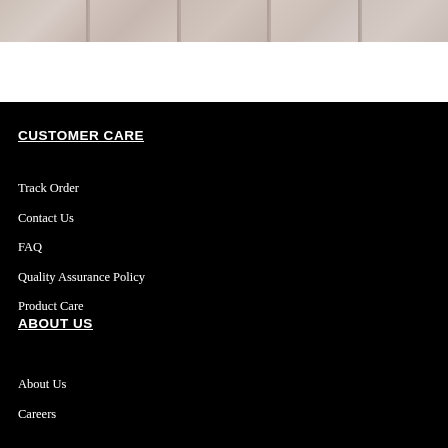[Figure (photo): Row of decorative images showing fabric or textile close-ups in muted tones, serving as a banner strip at top of page]
CUSTOMER CARE
Track Order
Contact Us
FAQ
Quality Assurance Policy
Product Care
ABOUT US
About Us
Careers